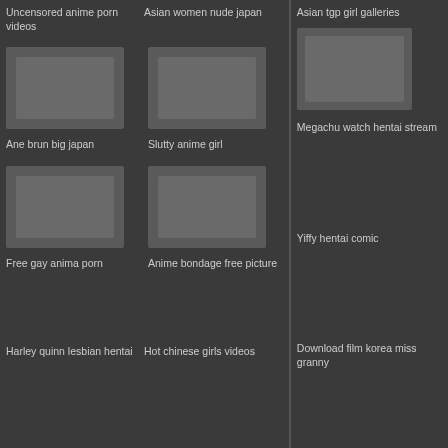Uncensored anime porn videos
Asian women nude japan
[Figure (photo): Thumbnail image]
Ane brun big japan
[Figure (photo): Thumbnail image]
Slutty anime girl
[Figure (photo): Thumbnail image]
Free gay anima porn
[Figure (photo): Thumbnail image]
Anime bondage free picture
Harley quinn lesbian hentai
Hot chinese girls videos
Asian tgp girl galleries
[Figure (photo): Right column thumbnail image]
Megachu watch hentai stream
Yiffy hentai comic
Download film korea miss granny